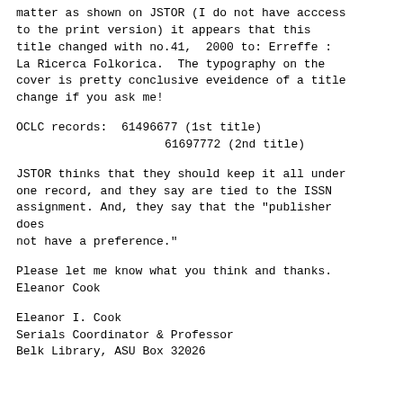matter as shown on JSTOR (I do not have acccess to the print version) it appears that this title changed with no.41,  2000 to: Erreffe : La Ricerca Folkorica.  The typography on the cover is pretty conclusive eveidence of a title change if you ask me!
OCLC records:  61496677 (1st title)
                  61697772 (2nd title)
JSTOR thinks that they should keep it all under one record, and they say are tied to the ISSN assignment. And, they say that the "publisher does
not have a preference."
Please let me know what you think and thanks.
Eleanor Cook
Eleanor I. Cook
Serials Coordinator & Professor
Belk Library, ASU Box 32026